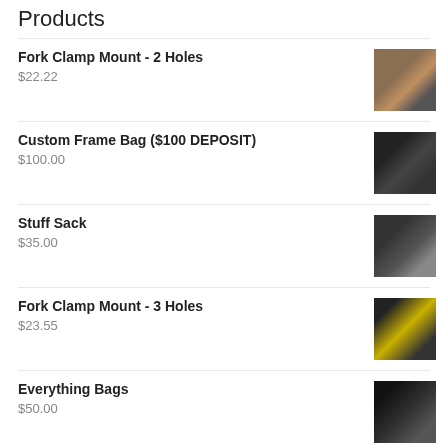Products
Fork Clamp Mount - 2 Holes
$22.22
Custom Frame Bag ($100 DEPOSIT)
$100.00
Stuff Sack
$35.00
Fork Clamp Mount - 3 Holes
$23.55
Everything Bags
$50.00
Recent Posts
New Sewing Shop!
Old Rock Shox Fork Cap Missing?
More Mount Machining